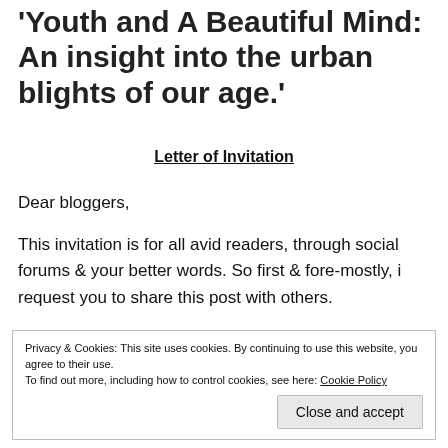'Youth and A Beautiful Mind: An insight into the urban blights of our age.'
Letter of Invitation
Dear bloggers,
This invitation is for all avid readers, through social forums & your better words. So first & fore-mostly, i request you to share this post with others.
Privacy & Cookies: This site uses cookies. By continuing to use this website, you agree to their use.
To find out more, including how to control cookies, see here: Cookie Policy
Close and accept